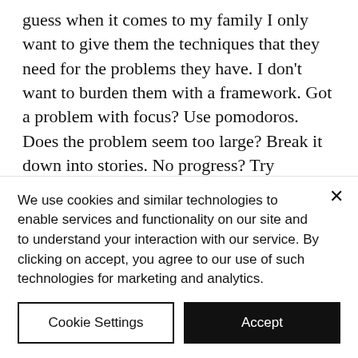guess when it comes to my family I only want to give them the techniques that they need for the problems they have. I don't want to burden them with a framework. Got a problem with focus? Use pomodoros. Does the problem seem too large? Break it down into stories. No progress? Try iterating. When I can provide a helpful technique that solves their problems (agile or not), I feel like Superman. Seriously folks, there is no better feeling in the world
We use cookies and similar technologies to enable services and functionality on our site and to understand your interaction with our service. By clicking on accept, you agree to our use of such technologies for marketing and analytics.
Cookie Settings
Accept